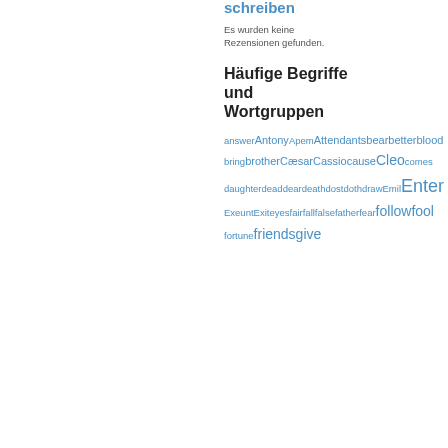schreiben
Es wurden keine Rezensionen gefunden.
Häufige Begriffe und Wortgruppen
answer Antony Apem Attendants bear better blood bring brother Cæsar Cassio cause Cleo comes daughter dead dear death dost doth draw Emil Enter Exeunt Exit eyes fair fall false father fear follow fool fortune friends give